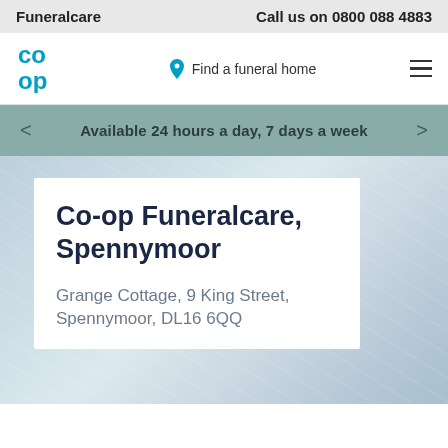Funeralcare    Call us on 0800 088 4883
Find a funeral home
Available 24 hours a day, 7 days a week
Co-op Funeralcare, Spennymoor
Grange Cottage, 9 King Street, Spennymoor, DL16 6QQ